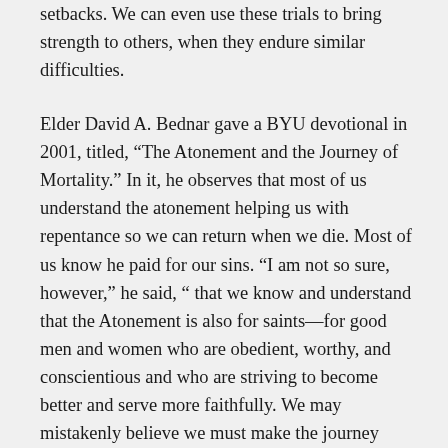setbacks. We can even use these trials to bring strength to others, when they endure similar difficulties.
Elder David A. Bednar gave a BYU devotional in 2001, titled, “The Atonement and the Journey of Mortality.” In it, he observes that most of us understand the atonement helping us with repentance so we can return when we die. Most of us know he paid for our sins. “I am not so sure, however,” he said, “ that we know and understand that the Atonement is also for saints—for good men and women who are obedient, worthy, and conscientious and who are striving to become better and serve more faithfully. We may mistakenly believe we must make the journey from good to better and become a saint all by ourselves, through sheer grit, willpower, and discipline, and